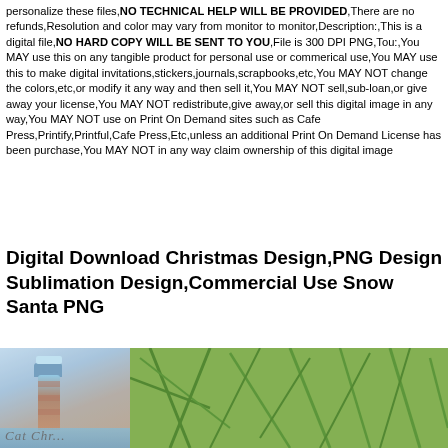personalize these files,NO TECHNICAL HELP WILL BE PROVIDED,There are no refunds,Resolution and color may vary from monitor to monitor,Description:,This is a digital file,NO HARD COPY WILL BE SENT TO YOU,File is 300 DPI PNG,Tou:,You MAY use this on any tangible product for personal use or commerical use,You MAY use this to make digital invitations,stickers,journals,scrapbooks,etc,You MAY NOT change the colors,etc,or modify it any way and then sell it,You MAY NOT sell,sub-loan,or give away your license,You MAY NOT redistribute,give away,or sell this digital image in any way,You MAY NOT use on Print On Demand sites such as Cafe Press,Printify,Printful,Cafe Press,Etc,unless an additional Print On Demand License has been purchase,You MAY NOT in any way claim ownership of this digital image
Digital Download Christmas Design,PNG Design Sublimation Design,Commercial Use Snow Santa PNG
[Figure (illustration): Two images side by side: left shows a watercolor-style lighthouse illustration with script text overlay; right shows close-up photo of green pine/fir branches.]